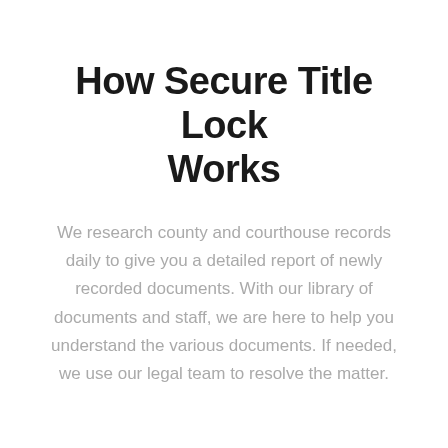How Secure Title Lock Works
We research county and courthouse records daily to give you a detailed report of newly recorded documents. With our library of documents and staff, we are here to help you understand the various documents. If needed, we use our legal team to resolve the matter.